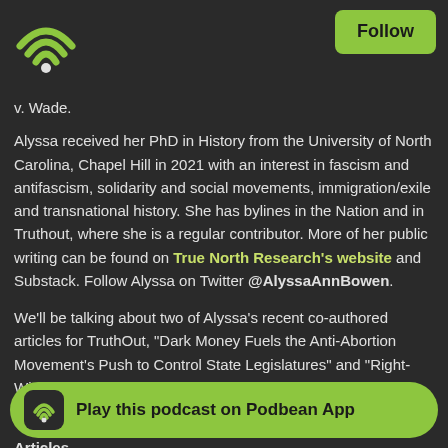Podbean podcast app header with WiFi/logo icon and Follow button
v. Wade.
Alyssa received her PhD in History from the University of North Carolina, Chapel Hill in 2021 with an interest in fascism and antifascism, solidarity and social movements, immigration/exile and transnational history. She has bylines in the Nation and in Truthout, where she is a regular contributor. More of her public writing can be found on True North Research's website and Substack. Follow Alyssa on Twitter @AlyssaAnnBowen.
We'll be talking about two of Alyssa's recent co-authored articles for TruthOut, "Dark Money Fuels the Anti-Abortion Movement's Push to Control State Legislatures" and "Right-Wing Dark Money is Coming for Reproductive Rights in Your State." Links to both articles are in today's show notes.
Articles
"Dark M... to Control State L...
[Figure (logo): Podbean App play banner at bottom of screen with green pill-shaped button saying 'Play this podcast on Podbean App']